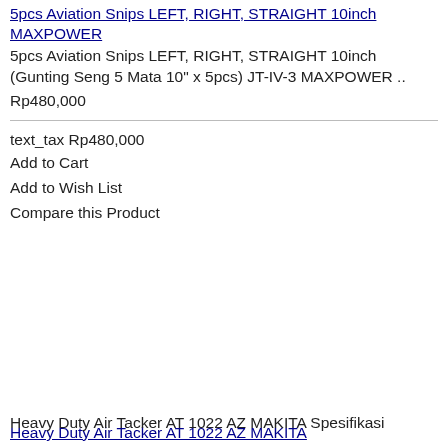5pcs Aviation Snips LEFT, RIGHT, STRAIGHT 10inch MAXPOWER
5pcs Aviation Snips LEFT, RIGHT, STRAIGHT 10inch (Gunting Seng 5 Mata 10" x 5pcs) JT-IV-3 MAXPOWER ..
Rp480,000
text_tax Rp480,000
Add to Cart
Add to Wish List
Compare this Product
Heavy Duty Air Tacker AT 1022 AZ MAKITA
Heavy Duty Air Tacker AT 1022 AZ MAKITA Spesifikasi